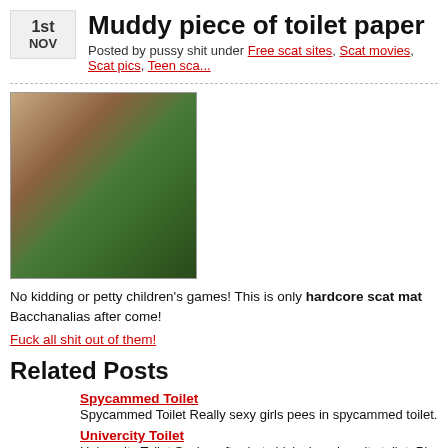Muddy piece of toilet paper
Posted by pussy shit under Free scat sites, Scat movies, Scat pics, Teen sca...
[Figure (photo): Woman holding a green plate]
No kidding or petty children’s games! This is only hardcore scat mat Bacchanalias after come!
Fuck all shit out of them!
Related Posts
Spycammed Toilet - Spycammed Toilet Really sexy girls pees in spycammed toilet. Hidden spycam in
Univercity Toilet - Univercity Toilet Spying after hot chicks in univercity toilet. Pissing fetish and voye
Watering in public toilet - Watering in public toilet Three chicks with perfect asses watering in public toilet. to
Dirty Toilet Spying